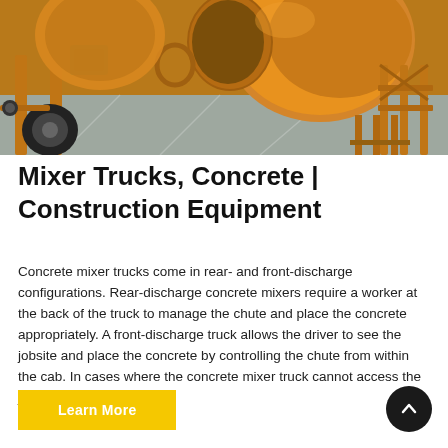[Figure (photo): Orange/yellow concrete mixer trucks parked on a grey floor in a warehouse or facility. Two large drum mixers are visible, one with a green motor. The machines are heavy construction equipment painted bright orange-yellow.]
Mixer Trucks, Concrete | Construction Equipment
Concrete mixer trucks come in rear- and front-discharge configurations. Rear-discharge concrete mixers require a worker at the back of the truck to manage the chute and place the concrete appropriately. A front-discharge truck allows the driver to see the jobsite and place the concrete by controlling the chute from within the cab. In cases where the concrete mixer truck cannot access the jobsite, the concrete ...
Learn More